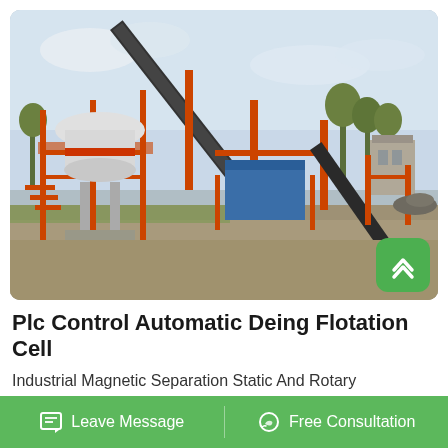[Figure (photo): Outdoor industrial mineral processing / mining plant with orange metal framework, a large white cone crusher on elevated platform, conveyor belts extending diagonally, blue machinery, and a small building in the background, set on a concrete yard with trees and overcast sky.]
Plc Control Automatic Deing Flotation Cell
Industrial Magnetic Separation Static And Rotary